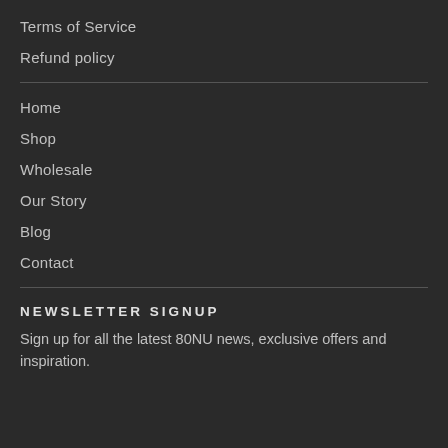Terms of Service
Refund policy
Home
Shop
Wholesale
Our Story
Blog
Contact
NEWSLETTER SIGNUP
Sign up for all the latest 80NU news, exclusive offers and inspiration.